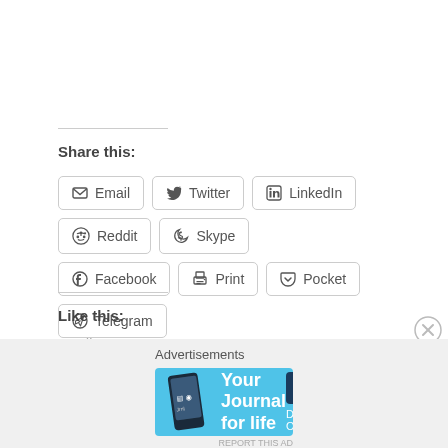Share this:
Email
Twitter
LinkedIn
Reddit
Skype
Facebook
Print
Pocket
Telegram
Like this:
Loading...
Advertisements
[Figure (infographic): Day One app advertisement banner with text 'Your Journal for life' and DAY ONE logo on blue background]